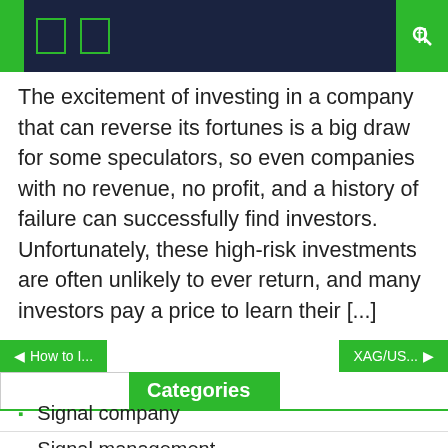The excitement of investing in a company that can reverse its fortunes is a big draw for some speculators, so even companies with no revenue, no profit, and a history of failure can successfully find investors. Unfortunately, these high-risk investments are often unlikely to ever return, and many investors pay a price to learn their [...]
Categories
Signal company
Signal management
Signal price
Signal stock